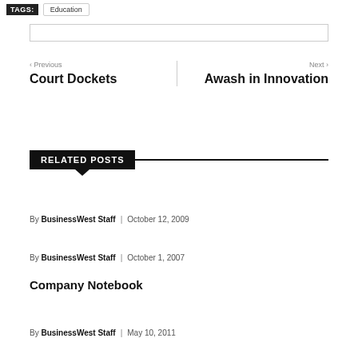TAGS: Education
< Previous
Court Dockets
Next >
Awash in Innovation
RELATED POSTS
By BusinessWest Staff | October 12, 2009
By BusinessWest Staff | October 1, 2007
Company Notebook
By BusinessWest Staff | May 10, 2011